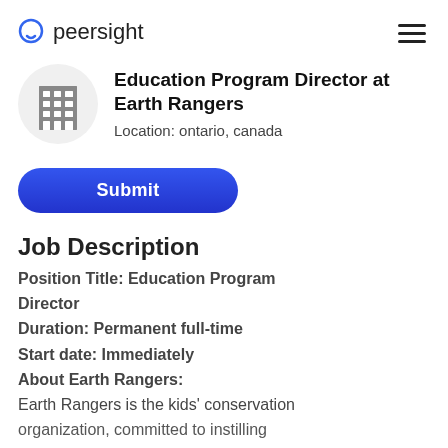peersight
Education Program Director at Earth Rangers
Location: ontario, canada
Submit
Job Description
Position Title: Education Program Director
Duration: Permanent full-time
Start date: Immediately
About Earth Rangers:
Earth Rangers is the kids' conservation organization, committed to instilling
[Figure (logo): Building/office icon in grey on light grey circle background]